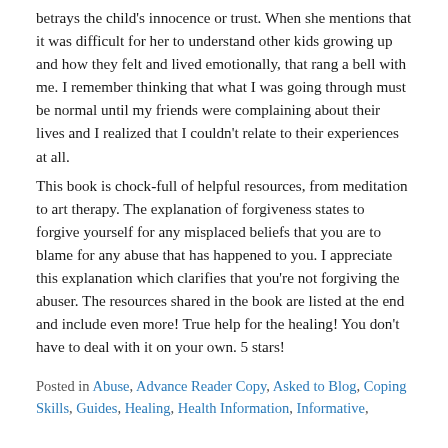betrays the child's innocence or trust. When she mentions that it was difficult for her to understand other kids growing up and how they felt and lived emotionally, that rang a bell with me. I remember thinking that what I was going through must be normal until my friends were complaining about their lives and I realized that I couldn't relate to their experiences at all.
This book is chock-full of helpful resources, from meditation to art therapy. The explanation of forgiveness states to forgive yourself for any misplaced beliefs that you are to blame for any abuse that has happened to you. I appreciate this explanation which clarifies that you're not forgiving the abuser. The resources shared in the book are listed at the end and include even more! True help for the healing! You don't have to deal with it on your own. 5 stars!
Posted in Abuse, Advance Reader Copy, Asked to Blog, Coping Skills, Guides, Healing, Health Information, Informative, ...